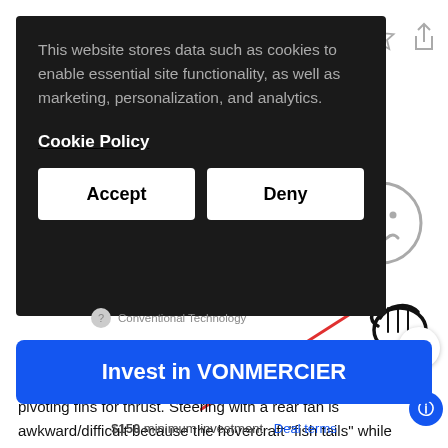[Figure (screenshot): Cookie consent banner overlay on dark background with text about cookies, a Cookie Policy link, and Accept/Deny buttons. Right side shows browser UI icons (star, share), a frowning face emoji, a fist emoji, red and blue dashed lines, a scroll-up chevron button, and partial diagram label 'Conventional Technology'.]
This website stores data such as cookies to enable essential site functionality, as well as marketing, personalization, and analytics.
Cookie Policy
Accept
Deny
Conventional Technology
Conventional personal hovercraft use a rear fan and pivoting fins for thrust. Steering with a rear fan is awkward/difficult because the hovercraft "fish tails" while in motion.
Invest in VONMERCIER
$150 minimum investment · Deal terms